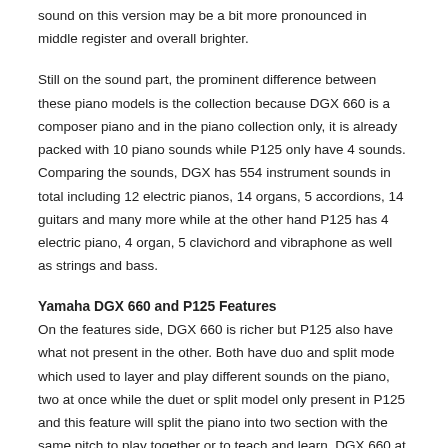sound on this version may be a bit more pronounced in middle register and overall brighter.
Still on the sound part, the prominent difference between these piano models is the collection because DGX 660 is a composer piano and in the piano collection only, it is already packed with 10 piano sounds while P125 only have 4 sounds. Comparing the sounds, DGX has 554 instrument sounds in total including 12 electric pianos, 14 organs, 5 accordions, 14 guitars and many more while at the other hand P125 has 4 electric piano, 4 organ, 5 clavichord and vibraphone as well as strings and bass.
Yamaha DGX 660 and P125 Features
On the features side, DGX 660 is richer but P125 also have what not present in the other. Both have duo and split mode which used to layer and play different sounds on the piano, two at once while the duet or split model only present in P125 and this feature will split the piano into two section with the same pitch to play together or to teach and learn. DGX 660 at the other hand is featured with audio playback and auto-accompaniment.